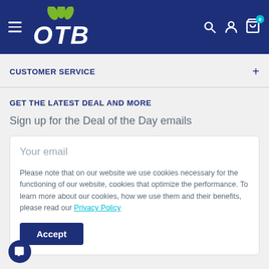[Figure (logo): OTB brand logo with green leaf icon and white italic text on dark blue navbar header, with hamburger menu, search, account, and cart (badge: 0) icons]
CUSTOMER SERVICE
GET THE LATEST DEAL AND MORE
Sign up for the Deal of the Day emails
Your email
Please note that on our website we use cookies necessary for the functioning of our website, cookies that optimize the performance. To learn more about our cookies, how we use them and their benefits, please read our Privacy Policy
Accept